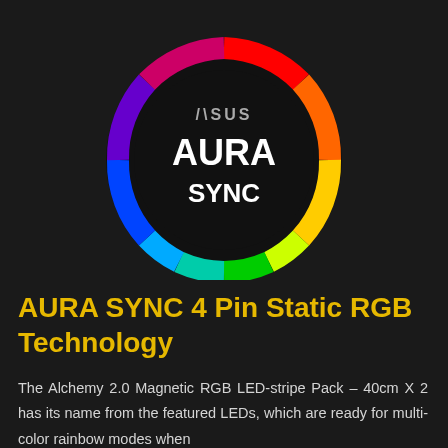[Figure (logo): ASUS AURA SYNC logo: a circular rainbow gradient ring (red, orange, yellow, green, blue, purple) on a black circular background, with 'AURA' in large white bold text and 'SYNC' below it, and the ASUS logo above in grey text.]
AURA SYNC 4 Pin Static RGB Technology
The Alchemy 2.0 Magnetic RGB LED-stripe Pack – 40cm X 2 has its name from the featured LEDs, which are ready for multi-color rainbow modes when